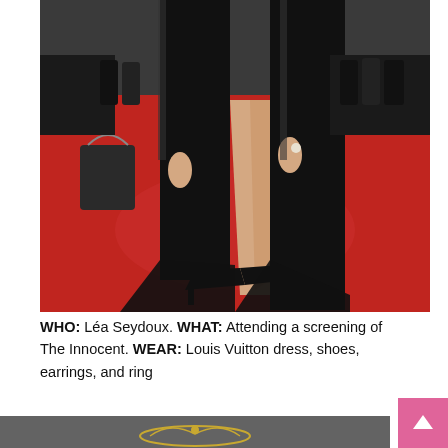[Figure (photo): A woman in a black long-sleeved gown with a high leg slit revealing one leg, wearing black high heels, standing on a red carpet. Crowd and security visible in background.]
WHO: Léa Seydoux. WHAT: Attending a screening of The Innocent. WEAR: Louis Vuitton dress, shoes, earrings, and ring
[Figure (photo): Partial view of a dark grey background with Cannes Film Festival laurel logo in gold/yellow.]